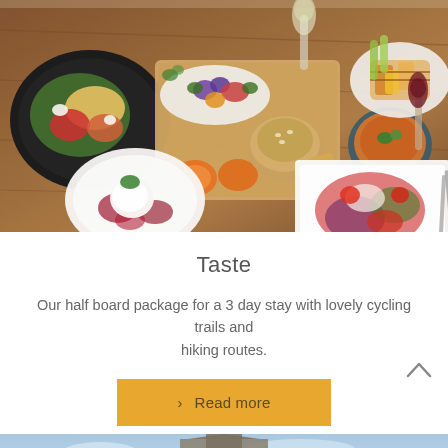[Figure (photo): Overhead view of a restaurant table spread with multiple dishes including salads, a bread roll on a wooden board, soup, grilled vegetables, a dessert with cream and berry sauce, a salad with tomatoes and mixed greens, a glass of white wine, and a glass of red wine.]
Taste
Our half board package for a 3 day stay with lovely cycling trails and hiking routes.
> Read more
[Figure (photo): Bottom portion of a building or church with a blue sky background, partially visible.]